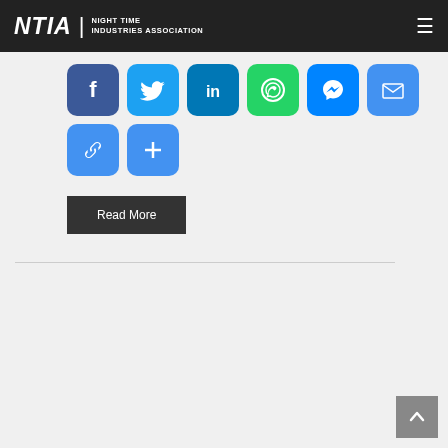NTIA | NIGHT TIME INDUSTRIES ASSOCIATION
[Figure (infographic): Row of social sharing icons: Facebook (blue), Twitter (light blue), LinkedIn (dark blue), WhatsApp (green), Messenger (blue), Email (blue); second row: Copy Link (blue), More/Add (blue)]
Read More
[Figure (infographic): Scroll-to-top button in bottom right corner with upward chevron]